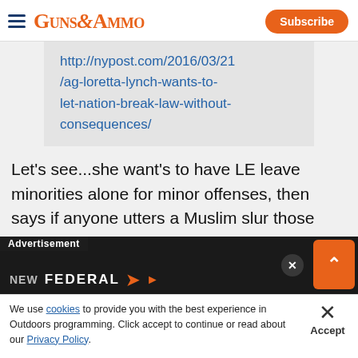Guns & Ammo | Subscribe
http://nypost.com/2016/03/21/ag-loretta-lynch-wants-to-let-nation-break-law-without-consequences/
Let's see...she want's to have LE leave minorities alone for minor offenses, then says if anyone utters a Muslim slur those people are to be prosecuted to the fullest. Words from the mouth of the two-headed rattlesnake!
[Figure (screenshot): Advertisement banner: NEW FEDERAL logo with close and expand buttons]
We use cookies to provide you with the best experience in Outdoors programming. Click accept to continue or read about our Privacy Policy.